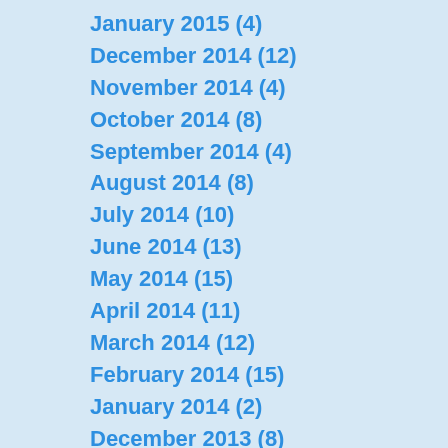January 2015 (4)
December 2014 (12)
November 2014 (4)
October 2014 (8)
September 2014 (4)
August 2014 (8)
July 2014 (10)
June 2014 (13)
May 2014 (15)
April 2014 (11)
March 2014 (12)
February 2014 (15)
January 2014 (2)
December 2013 (8)
November 2013 (1)
October 2013 (4)
September 2013 (11)
August 2013 (5)
July 2013 (8)